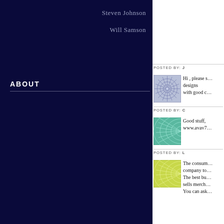Steven Johnson
Will Samson
ABOUT
POSTED BY: J…
[Figure (illustration): Blue/purple geometric star pattern avatar]
Hi , please s… designs with good c…
POSTED BY: C…
[Figure (illustration): Teal/green concentric curves pattern avatar]
Good stuff, www.avav7…
POSTED BY: L…
[Figure (illustration): Yellow-green concentric curves pattern avatar]
The consum… company to… The best bu… sells merch… You can ask…